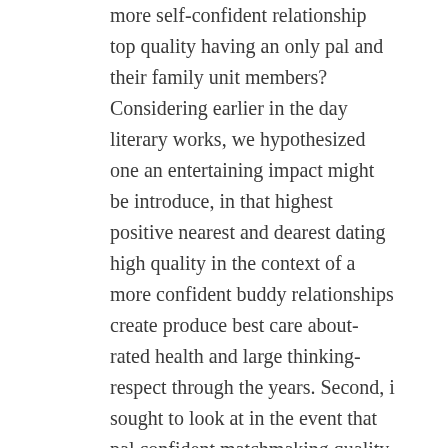more self-confident relationship top quality having an only pal and their family unit members? Considering earlier in the day literary works, we hypothesized one an entertaining impact might be introduce, in that highest positive nearest and dearest dating high quality in the context of a more confident buddy relationships create produce best care about-rated health and large thinking-respect through the years. Second, i sought to look at in the event that pal confident matchmaking quality try defensive in the context of bad family members matchmaking. Such as for example, is an even more self-confident relationship reduce the effects of large family unit members negativity to your really-are? Specifically, i hypothesized you to high friend positivity combined with reduced family